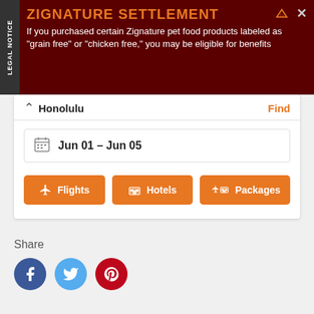[Figure (screenshot): Legal notice advertisement banner for Zignature Settlement. Dark red background with orange title 'ZIGNATURE SETTLEMENT' and white body text about being eligible for benefits if you purchased certain Zignature pet food products labeled as grain free or chicken free.]
Honolulu
Find
Jun 01 – Jun 05
Flights
Hotels
Packages
Share